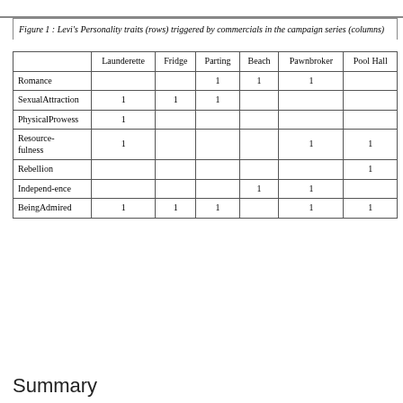Figure 1 : Levi's Personality traits (rows) triggered by commercials in the campaign series (columns)
|  | Launderette | Fridge | Parting | Beach | Pawnbroker | Pool Hall |
| --- | --- | --- | --- | --- | --- | --- |
| Romance |  |  | 1 | 1 | 1 |  |
| SexualAttraction | 1 | 1 | 1 |  |  |  |
| PhysicalProwess | 1 |  |  |  |  |  |
| Resource-fulness | 1 |  |  |  | 1 | 1 |
| Rebellion |  |  |  |  |  | 1 |
| Independ-ence |  |  |  | 1 | 1 |  |
| BeingAdmired | 1 | 1 | 1 |  | 1 | 1 |
Summary